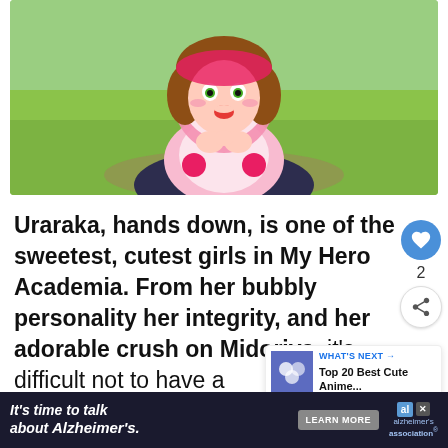[Figure (illustration): Anime screenshot of Uraraka from My Hero Academia making a heart shape with her hands, wearing her hero suit, with a green outdoor background]
Uraraka, hands down, is one of the sweetest, cutest girls in My Hero Academia. From her bubbly personality her integrity, and her adorable crush on Midoriya, it's difficult not to have a for her while you watch her fight alongside the ot
[Figure (infographic): What's Next card showing Top 20 Best Cute Anime... with a thumbnail image]
It's time to talk about Alzheimer's. LEARN MORE